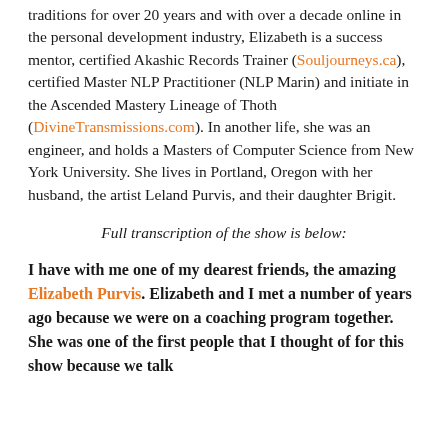traditions for over 20 years and with over a decade online in the personal development industry, Elizabeth is a success mentor, certified Akashic Records Trainer (Souljourneys.ca), certified Master NLP Practitioner (NLP Marin) and initiate in the Ascended Mastery Lineage of Thoth (DivineTransmissions.com). In another life, she was an engineer, and holds a Masters of Computer Science from New York University. She lives in Portland, Oregon with her husband, the artist Leland Purvis, and their daughter Brigit.
Full transcription of the show is below:
I have with me one of my dearest friends, the amazing Elizabeth Purvis. Elizabeth and I met a number of years ago because we were on a coaching program together. She was one of the first people that I thought of for this show because we talk